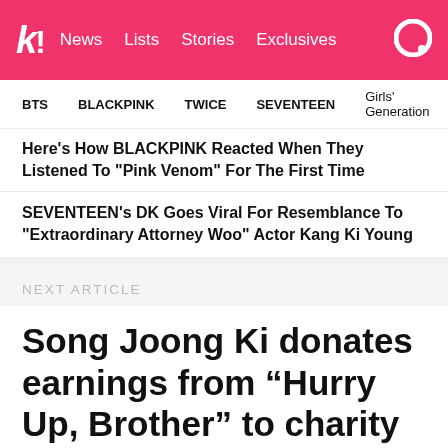K! News Lists Stories Exclusives
BTS   BLACKPINK   TWICE   SEVENTEEN   Girls' Generation
Here's How BLACKPINK Reacted When They Listened To "Pink Venom" For The First Time
SEVENTEEN's DK Goes Viral For Resemblance To "Extraordinary Attorney Woo" Actor Kang Ki Young
NEXT ARTICLE
Song Joong Ki donates earnings from “Hurry Up, Brother” to charity
[Figure (photo): Photo of a person, likely Song Joong Ki, with dark messy hair, outdoors with a grey sky and buildings in the background]